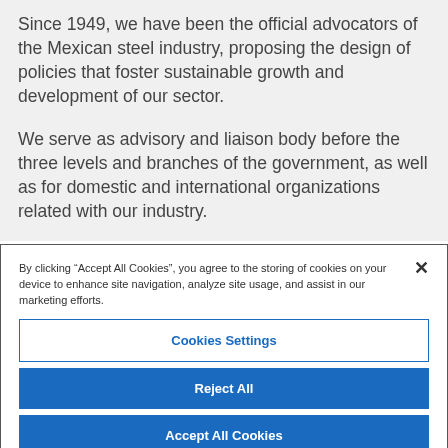Since 1949, we have been the official advocators of the Mexican steel industry, proposing the design of policies that foster sustainable growth and development of our sector.
We serve as advisory and liaison body before the three levels and branches of the government, as well as for domestic and international organizations related with our industry.
By clicking “Accept All Cookies”, you agree to the storing of cookies on your device to enhance site navigation, analyze site usage, and assist in our marketing efforts.
Cookies Settings
Reject All
Accept All Cookies